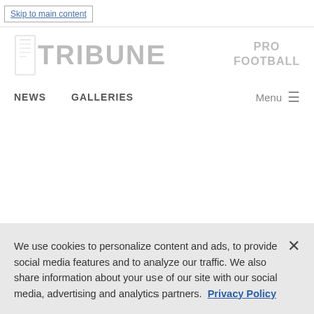Skip to main content
[Figure (logo): Tribune newspaper logo with icon and TRIBUNE text]
PRO
FOOTBALL
NEWS   GALLERIES   Menu
Evan Noel
We use cookies to personalize content and ads, to provide social media features and to analyze our traffic. We also share information about your use of our site with our social media, advertising and analytics partners. Privacy Policy